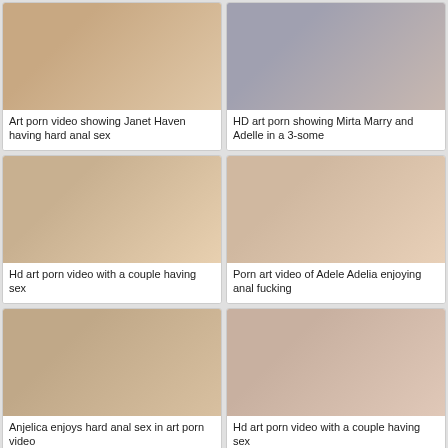[Figure (photo): Thumbnail image 1]
Art porn video showing Janet Haven having hard anal sex
[Figure (photo): Thumbnail image 2]
HD art porn showing Mirta Marry and Adelle in a 3-some
[Figure (photo): Thumbnail image 3]
Hd art porn video with a couple having sex
[Figure (photo): Thumbnail image 4]
Porn art video of Adele Adelia enjoying anal fucking
[Figure (photo): Thumbnail image 5]
Anjelica enjoys hard anal sex in art porn video
[Figure (photo): Thumbnail image 6]
Hd art porn video with a couple having sex